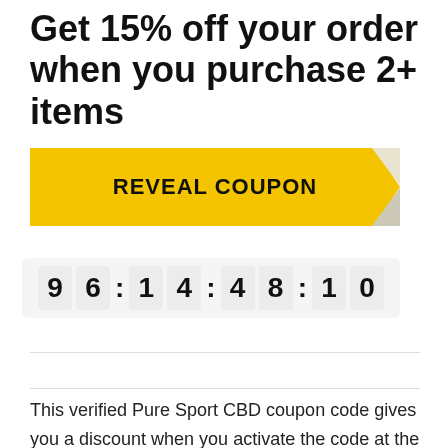Get 15% off your order when you purchase 2+ items
[Figure (other): Yellow coupon reveal button with folded corner effect, labeled REVEAL COUPON]
9 6 : 1 4 : 4 8 : 1 0
This verified Pure Sport CBD coupon code gives you a discount when you activate the code at the checkout page. Get 15% off your order when you purchase 2+ items.